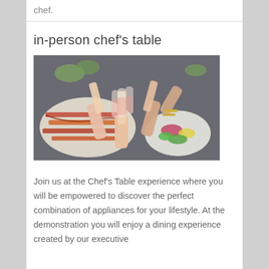chef.
in-person chef's table
[Figure (photo): Top-down view of multiple hands holding wine glasses in a toast over a table with food including skewers, salads, and various dishes]
Join us at the Chef's Table experience where you will be empowered to discover the perfect combination of appliances for your lifestyle. At the demonstration you will enjoy a dining experience created by our executive